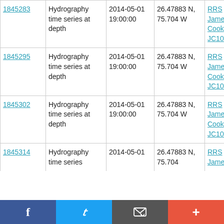| 1845283 | Hydrography time series at depth | 2014-05-01 19:00:00 | 26.47883 N, 75.704 W | RRS James Cook JC103 |
| 1845295 | Hydrography time series at depth | 2014-05-01 19:00:00 | 26.47883 N, 75.704 W | RRS James Cook JC103 |
| 1845302 | Hydrography time series at depth | 2014-05-01 19:00:00 | 26.47883 N, 75.704 W | RRS James Cook JC103 |
| 1845314 | Hydrography time series... | 2014-05-01... | 26.47883 N, 75.704... | RRS James... |